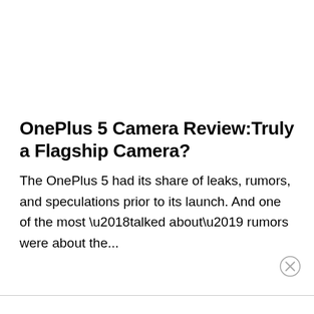OnePlus 5 Camera Review: Truly a Flagship Camera?
The OnePlus 5 had its share of leaks, rumors, and speculations prior to its launch. And one of the most ‘talked about’ rumors were about the…